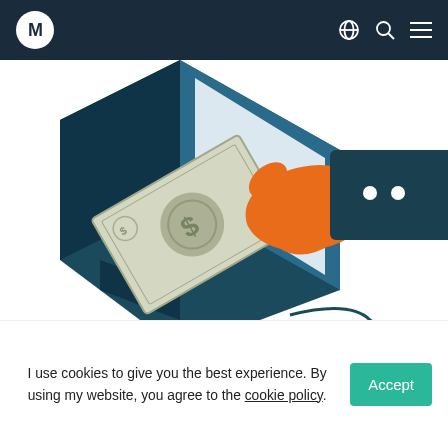[Figure (logo): Navigation bar with circular M logo on dark navy background, globe icon, search icon, and hamburger menu icon on the right]
[Figure (illustration): Isometric illustration of a hand in a dark teal business suit sleeve, with orange skin, inserting a dollar bill into a slot in a computer monitor. A computer mouse is visible in the lower right. Background is white.]
I use cookies to give you the best experience. By using my website, you agree to the cookie policy.
Accept